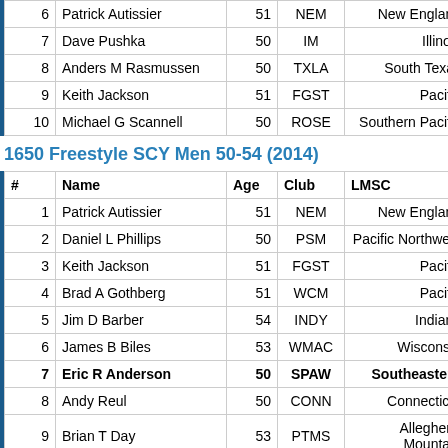| # | Name | Age | Club | LMSC | Time |
| --- | --- | --- | --- | --- | --- |
| 6 | Patrick Autissier | 51 | NEM | New England |  |
| 7 | Dave Pushka | 50 | IM | Illinois |  |
| 8 | Anders M Rasmussen | 50 | TXLA | South Texas |  |
| 9 | Keith Jackson | 51 | FGST | Pacific |  |
| 10 | Michael G Scannell | 50 | ROSE | Southern Pacific |  |
1650 Freestyle SCY Men 50-54 (2014)
| # | Name | Age | Club | LMSC | Time |
| --- | --- | --- | --- | --- | --- |
| 1 | Patrick Autissier | 51 | NEM | New England | 18:0 |
| 2 | Daniel L Phillips | 50 | PSM | Pacific Northwest | 18:1 |
| 3 | Keith Jackson | 51 | FGST | Pacific | 18:3 |
| 4 | Brad A Gothberg | 51 | WCM | Pacific | 18:3 |
| 5 | Jim D Barber | 54 | INDY | Indiana | 18:3 |
| 6 | James B Biles | 53 | WMAC | Wisconsin | 18:4 |
| 7 | Eric R Anderson | 50 | SPAW | Southeastern | 18:4 |
| 8 | Andy Reul | 50 | CONN | Connecticut | 18:4 |
| 9 | Brian T Day | 53 | PTMS | Allegheny Mountain | 18:4 |
| 10 | David J Brancamp | 52 | SNM | Pacific | 18:5 |